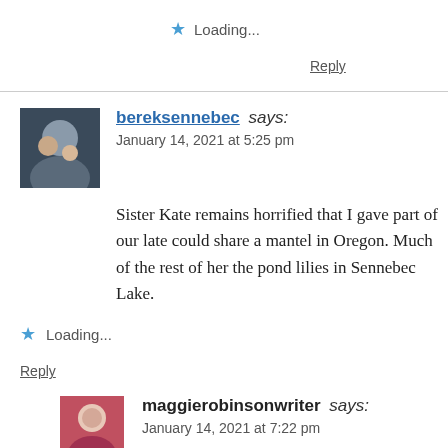★ Loading...
Reply
bereksennebec says:
January 14, 2021 at 5:25 pm
Sister Kate remains horrified that I gave part of our late could share a mantel in Oregon. Much of the rest of her the pond lilies in Sennebec Lake.
★ Loading...
Reply
maggierobinsonwriter says:
January 14, 2021 at 7:22 pm
Sounds like a lovely way to wind up!